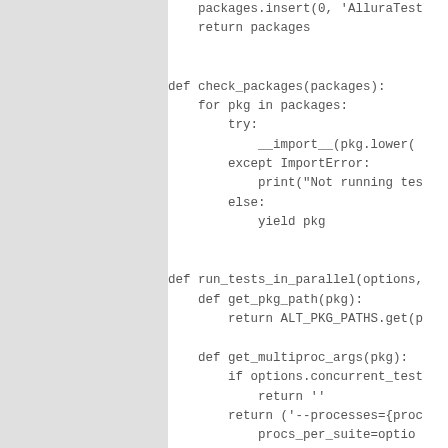[Figure (screenshot): Code editor screenshot showing Python source code with a gray left panel and white code area. The code shows functions: packages.insert and return packages, check_packages(packages) with for loop, try/except/else blocks, and run_tests_in_parallel(options,...) with nested defs get_pkg_path and get_multiproc_args.]